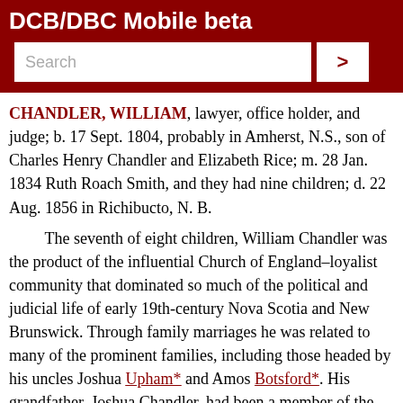DCB/DBC Mobile beta
CHANDLER, WILLIAM, lawyer, office holder, and judge; b. 17 Sept. 1804, probably in Amherst, N.S., son of Charles Henry Chandler and Elizabeth Rice; m. 28 Jan. 1834 Ruth Roach Smith, and they had nine children; d. 22 Aug. 1856 in Richibucto, N. B.
The seventh of eight children, William Chandler was the product of the influential Church of England–loyalist community that dominated so much of the political and judicial life of early 19th-century Nova Scotia and New Brunswick. Through family marriages he was related to many of the prominent families, including those headed by his uncles Joshua Upham* and Amos Botsford*. His grandfather, Joshua Chandler, had been a member of the Connecticut legislature before he immigrated to Nova Scotia in 1783. His father was sheriff of Cumberland County and was succeeded in that office by William's brother, Joshua. A first